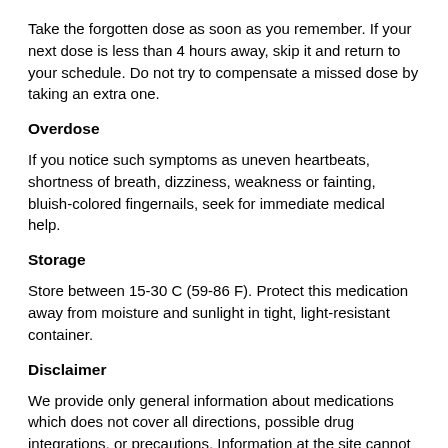Take the forgotten dose as soon as you remember. If your next dose is less than 4 hours away, skip it and return to your schedule. Do not try to compensate a missed dose by taking an extra one.
Overdose
If you notice such symptoms as uneven heartbeats, shortness of breath, dizziness, weakness or fainting, bluish-colored fingernails, seek for immediate medical help.
Storage
Store between 15-30 C (59-86 F). Protect this medication away from moisture and sunlight in tight, light-resistant container.
Disclaimer
We provide only general information about medications which does not cover all directions, possible drug integrations, or precautions. Information at the site cannot be used for self-treatment and self-diagnosis. Any specific instructions for a particular patient should be agreed with your health care adviser or doctor in charge of the case. We disclaim reliability of this information and mistakes it could contain. We are not responsible for any direct, indirect, special or other indirect damage as a result of any use of the